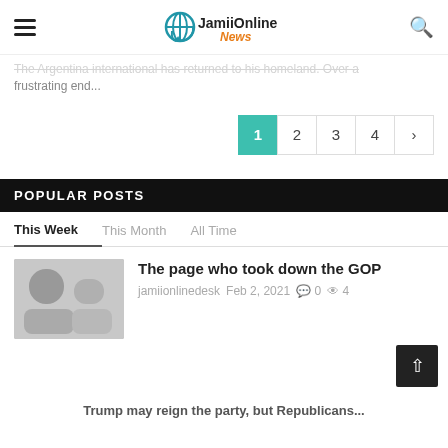JamiiOnline News
The Argentina international has returned to his homeland. Over a frustrating end...
1 2 3 4 ›
POPULAR POSTS
This Week   This Month   All Time
The page who took down the GOP
jamiionlinedesk   Feb 2, 2021   0   4
Trump may reign the party, but Republicans...